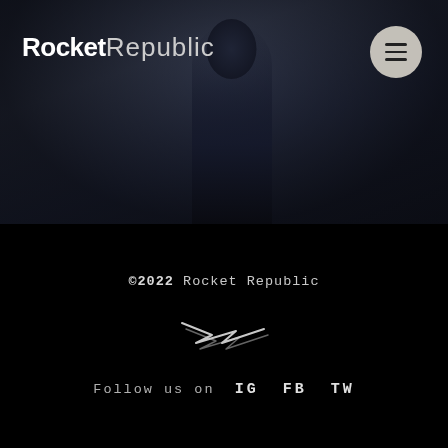[Figure (photo): Dark hero image with silhouette of a person against a dark blue-grey background, suggesting someone holding or wearing headphones/equipment.]
RocketRepublic
[Figure (illustration): Hamburger menu icon (three horizontal lines) inside a light beige/cream circle button in the top-right corner.]
©2022 Rocket Republic
[Figure (illustration): Lightning bolt / zigzag logo mark in white outline style.]
Follow us on  IG  FB  TW